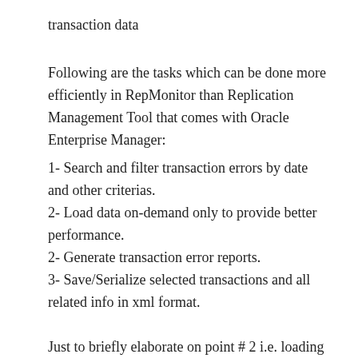transaction data
Following are the tasks which can be done more efficiently in RepMonitor than Replication Management Tool that comes with Oracle Enterprise Manager:
1- Search and filter transaction errors by date and other criterias.
2- Load data on-demand only to provide better performance.
2- Generate transaction error reports.
3- Save/Serialize selected transactions and all related info in xml format.
Just to briefly elaborate on point # 2 i.e. loading data on-demand, Oracle Enterprise Manager